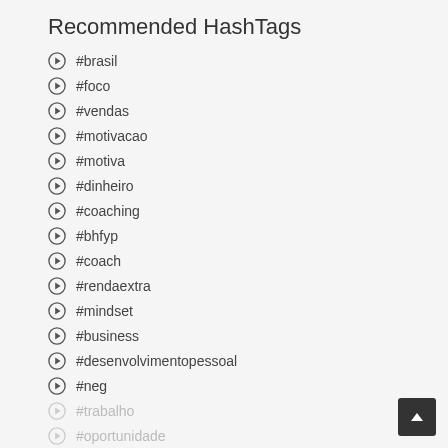Recommended HashTags
#brasil
#foco
#vendas
#motivacao
#motiva
#dinheiro
#coaching
#bhfyp
#coach
#rendaextra
#mindset
#business
#desenvolvimentopessoal
#neg
#trabalho
#oportunidade
#vendasonline